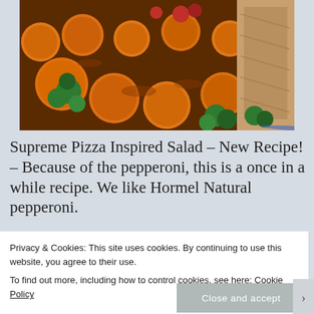[Figure (photo): Close-up photo of roasted carrots and broccoli in a baking dish, with some meat visible on the right side.]
Supreme Pizza Inspired Salad – New Recipe! – Because of the pepperoni, this is a once in a while recipe. We like Hormel Natural pepperoni.
This salad is best prepared just before serving
Privacy & Cookies: This site uses cookies. By continuing to use this website, you agree to their use.
To find out more, including how to control cookies, see here: Cookie Policy